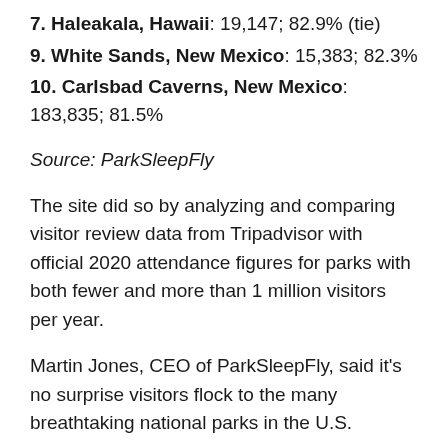7. Haleakala, Hawaii: 19,147; 82.9% (tie)
9. White Sands, New Mexico: 15,383; 82.3%
10. Carlsbad Caverns, New Mexico: 183,835; 81.5%
Source: ParkSleepFly
The site did so by analyzing and comparing visitor review data from Tripadvisor with official 2020 attendance figures for parks with both fewer and more than 1 million visitors per year.
Martin Jones, CEO of ParkSleepFly, said it's no surprise visitors flock to the many breathtaking national parks in the U.S.
“However, there is something particularly beautiful about the ‘underappreciated’ national parks,” he added. “The